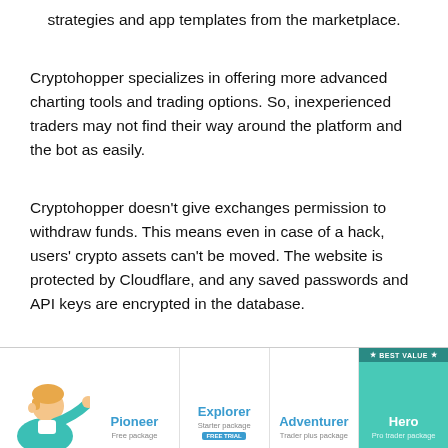strategies and app templates from the marketplace.
Cryptohopper specializes in offering more advanced charting tools and trading options. So, inexperienced traders may not find their way around the platform and the bot as easily.
Cryptohopper doesn't give exchanges permission to withdraw funds. This means even in case of a hack, users' crypto assets can't be moved. The website is protected by Cloudflare, and any saved passwords and API keys are encrypted in the database.
[Figure (other): Pricing table showing four plans: Pioneer (Free package), Explorer (Starter package, Free Trial badge), Adventurer (Trader plus package), Hero (Pro trader package, Best Value badge). Illustrated with a cartoon person pointing.]